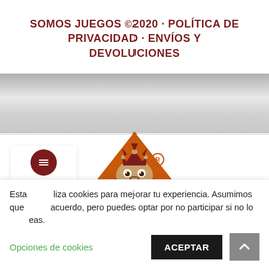SOMOS JUEGOS © 2020 · POLÍTICA DE PRIVACIDAD · ENVÍOS Y DEVOLUCIONES
[Figure (logo): Somos Juegos logo: animated bulldog with crown peeking from behind an orange triangle mountain shape, with registered trademark symbol]
Esta web utiliza cookies para mejorar tu experiencia. Asumimos que estás de acuerdo, pero puedes optar por no participar si no lo deseas.
Opciones de cookies
ACEPTAR